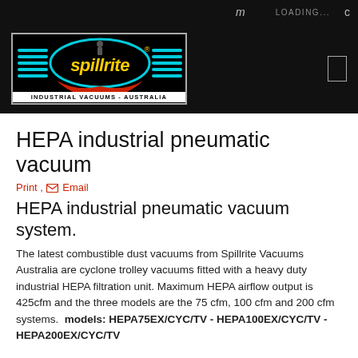m   LOADING...   c
[Figure (logo): Spillrite Industrial Vacuums Australia logo — yellow stylized text 'spillrite' with cyan horizontal lines and red splash on black background, bordered with grey rectangle. Tagline: INDUSTRIAL VACUUMS - AUSTRALIA]
HEPA industrial pneumatic vacuum
Print ,  Email
HEPA industrial pneumatic vacuum system.
The latest combustible dust vacuums from Spillrite Vacuums Australia are cyclone trolley vacuums fitted with a heavy duty industrial HEPA filtration unit. Maximum HEPA airflow output is 425cfm and the three models are the 75 cfm, 100 cfm and 200 cfm systems.  models: HEPA75EX/CYC/TV - HEPA100EX/CYC/TV - HEPA200EX/CYC/TV